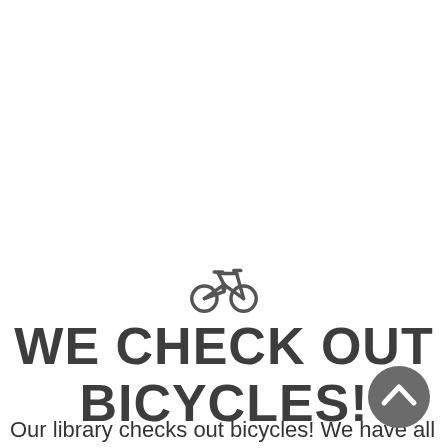[Figure (illustration): Bicycle icon (outline style), centered, dark gray color]
WE CHECK OUT BICYCLES!
Our library checks out bicycles!  We have all sizes for the
[Figure (other): Gray circular scroll-up button with upward chevron arrow, positioned bottom right]